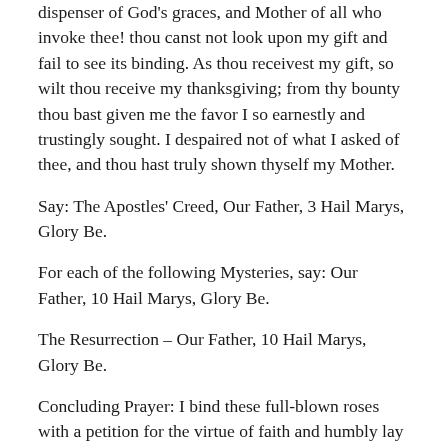dispenser of God's graces, and Mother of all who invoke thee! thou canst not look upon my gift and fail to see its binding. As thou receivest my gift, so wilt thou receive my thanksgiving; from thy bounty thou bast given me the favor I so earnestly and trustingly sought. I despaired not of what I asked of thee, and thou hast truly shown thyself my Mother.
Say: The Apostles' Creed, Our Father, 3 Hail Marys, Glory Be.
For each of the following Mysteries, say: Our Father, 10 Hail Marys, Glory Be.
The Resurrection – Our Father, 10 Hail Marys, Glory Be.
Concluding Prayer: I bind these full-blown roses with a petition for the virtue of faith and humbly lay this bouquet at thy feet.